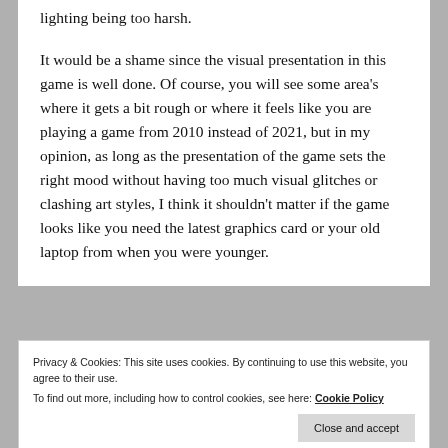lighting being too harsh.
It would be a shame since the visual presentation in this game is well done. Of course, you will see some area’s where it gets a bit rough or where it feels like you are playing a game from 2010 instead of 2021, but in my opinion, as long as the presentation of the game sets the right mood without having too much visual glitches or clashing art styles, I think it shouldn’t matter if the game looks like you need the latest graphics card or your old laptop from when you were younger.
Privacy & Cookies: This site uses cookies. By continuing to use this website, you agree to their use.
To find out more, including how to control cookies, see here: Cookie Policy
of the game. But, I didn’t focus on these moments since